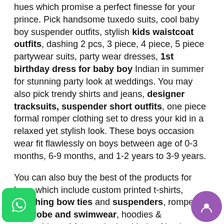hues which promise a perfect finesse for your prince. Pick handsome tuxedo suits, cool baby boy suspender outfits, stylish kids waistcoat outfits, dashing 2 pcs, 3 piece, 4 piece, 5 piece partywear suits, party wear dresses, 1st birthday dress for baby boy Indian in summer for stunning party look at weddings. You may also pick trendy shirts and jeans, designer tracksuits, suspender short outfits, one piece formal romper clothing set to dress your kid in a relaxed yet stylish look. These boys occasion wear fit flawlessly on boys between age of 0-3 months, 6-9 months, and 1-2 years to 3-9 years.
You can also buy the best of the products for boys which include custom printed t-shirts, matching bow ties and suspenders, rompers, bathrobe and swimwear, hoodies & sweatshirts, shirts and other kinds of boy's accessories.
We offer convenience of free shipping across India. We also offer best international delivery across the globe to countries like United Kingdom, United States of America, Canada, Australia, New Zealand and e...